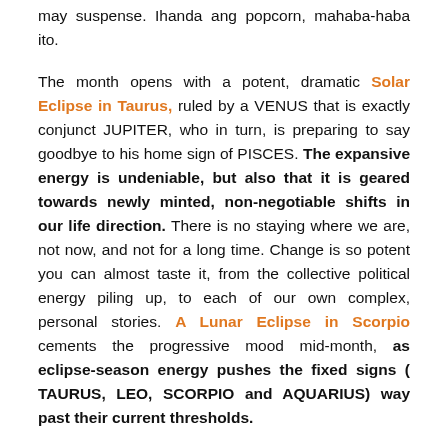may suspense. Ihanda ang popcorn, mahaba-haba ito.
The month opens with a potent, dramatic Solar Eclipse in Taurus, ruled by a VENUS that is exactly conjunct JUPITER, who in turn, is preparing to say goodbye to his home sign of PISCES. The expansive energy is undeniable, but also that it is geared towards newly minted, non-negotiable shifts in our life direction. There is no staying where we are, not now, and not for a long time. Change is so potent you can almost taste it, from the collective political energy piling up, to each of our own complex, personal stories. A Lunar Eclipse in Scorpio cements the progressive mood mid-month, as eclipse-season energy pushes the fixed signs ( TAURUS, LEO, SCORPIO and AQUARIUS) way past their current thresholds.
Elections happen this month, too. Finally, after long, grueling months of division, campaign period